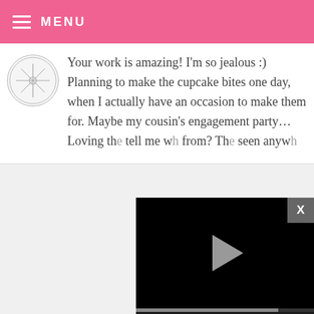MENU
Your work is amazing! I'm so jealous :) Planning to make the cupcake bites one day, when I actually have an occasion to make them for. Maybe my cousin's engagement party... Loving th[e...] tell me w[here...] from? Th[...] seen anyw[here...]
[Figure (screenshot): Video player overlay with black background, play button, progress bar at ~80%, and controls showing mute icon, 13:52 timestamp, CC button, grid button, settings gear, and fullscreen icon.]